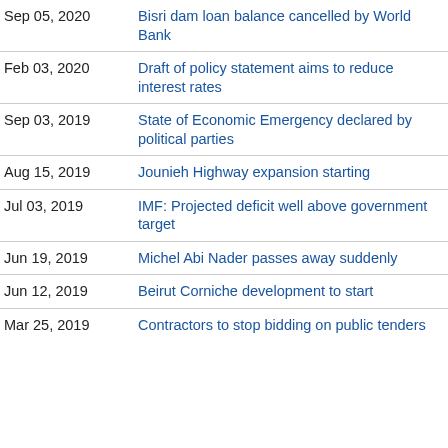| Date | Headline |
| --- | --- |
| Sep 05, 2020 | Bisri dam loan balance cancelled by World Bank |
| Feb 03, 2020 | Draft of policy statement aims to reduce interest rates |
| Sep 03, 2019 | State of Economic Emergency declared by political parties |
| Aug 15, 2019 | Jounieh Highway expansion starting |
| Jul 03, 2019 | IMF: Projected deficit well above government target |
| Jun 19, 2019 | Michel Abi Nader passes away suddenly |
| Jun 12, 2019 | Beirut Corniche development to start |
| Mar 25, 2019 | Contractors to stop bidding on public tenders |